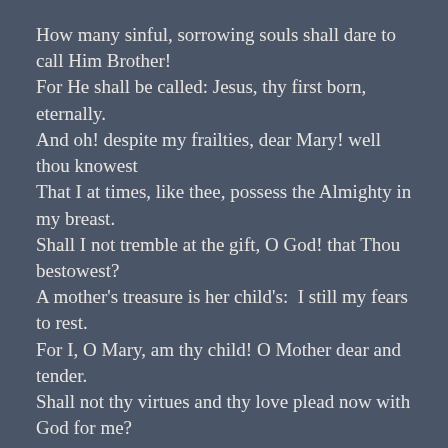How many sinful, sorrowing souls shall dare to call Him Brother!
For He shall be called: Jesus, thy first born, eternally.
And oh! despite my frailties, dear Mary! well thou knowest
That I at times, like thee, possess the Almighty in my breast.
Shall I not tremble at the gift, O God! that Thou bestowest?
A mother's treasure is her child's:  I still my fears to rest.
For I, O Mary, am thy child! O Mother dear and tender.
Shall not thy virtues and thy love plead now with God for me?